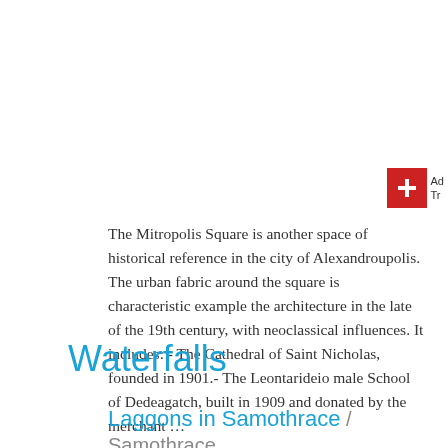[Figure (logo): Red square with white plus sign and partial text 'Ad Tr' to the right, top-right corner]
The Mitropolis Square is another space of historical reference in the city of Alexandroupolis. The urban fabric around the square is characteristic example the architecture in the late of the 19th century, with neoclassical influences. It includes: - The Cathedral of Saint Nicholas, founded in 1901.- The Leontarideio male School of Dedeagatch, built in 1909 and donated by the merchant …
Read More
Waterfalls
Laggons in Samothrace / Samothrace